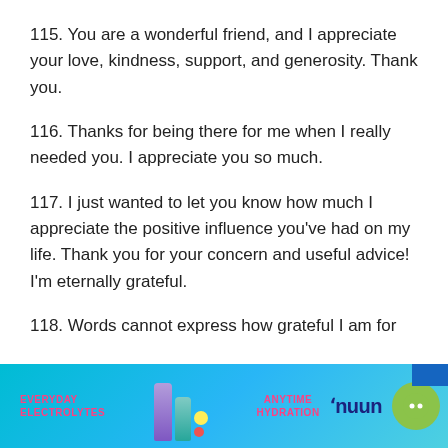115. You are a wonderful friend, and I appreciate your love, kindness, support, and generosity. Thank you.
116. Thanks for being there for me when I really needed you. I appreciate you so much.
117. I just wanted to let you know how much I appreciate the positive influence you’ve had on my life. Thank you for your concern and useful advice! I’m eternally grateful.
118. Words cannot express how grateful I am for
[Figure (infographic): Advertisement banner for Nuun electrolyte hydration product. Blue background with text 'EVERYDAY ELECTROLYTES' in pink on left, product images in center, 'ANYTIME HYDRATION' in pink, 'nuun' brand name in dark blue, and green circular chat icon on right.]